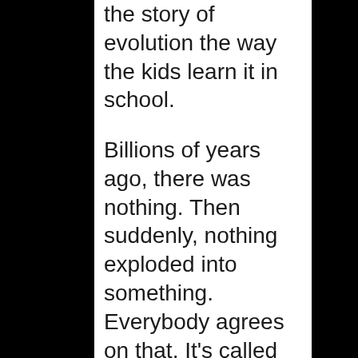the story of evolution the way the kids learn it in school.
Billions of years ago, there was nothing. Then suddenly, nothing exploded into something. Everybody agrees on that. It’s called the “Big Bang Theory.”